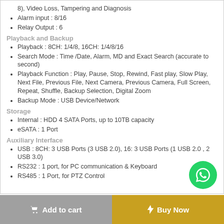8), Video Loss, Tampering and Diagnosis
Alarm input : 8/16
Relay Output : 6
Playback and Backup
Playback : 8CH: 1/4/8, 16CH: 1/4/8/16
Search Mode : Time /Date, Alarm, MD and Exact Search (accurate to second)
Playback Function : Play, Pause, Stop, Rewind, Fast play, Slow Play, Next File, Previous File, Next Camera, Previous Camera, Full Screen, Repeat, Shuffle, Backup Selection, Digital Zoom
Backup Mode : USB Device/Network
Storage
Internal : HDD 4 SATA Ports, up to 10TB capacity
eSATA : 1 Port
Auxiliary Interface
USB : 8CH: 3 USB Ports (3 USB 2.0), 16: 3 USB Ports (1 USB 2.0 , 2 USB 3.0)
RS232 : 1 port, for PC communication & Keyboard
RS485 : 1 Port, for PTZ Control
[Figure (illustration): WhatsApp contact button (green circle with phone icon)]
Add to cart  |  Buy Now